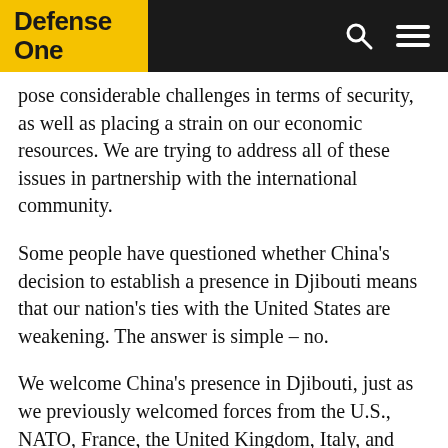Defense One
pose considerable challenges in terms of security, as well as placing a strain on our economic resources. We are trying to address all of these issues in partnership with the international community.
Some people have questioned whether China's decision to establish a presence in Djibouti means that our nation's ties with the United States are weakening. The answer is simple – no.
We welcome China's presence in Djibouti, just as we previously welcomed forces from the U.S., NATO, France, the United Kingdom, Italy, and Japan, who are present in our country. These are vital strategic allies for Djibouti as we fight against terrorism and piracy, which remain significant threats to the international community and the global economy.